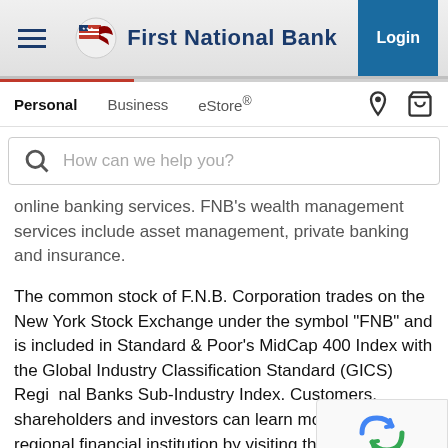First National Bank — Navigation Header with Login, Personal, Business, eStore® links and search bar
online banking services. FNB's wealth management services include asset management, private banking and insurance.
The common stock of F.N.B. Corporation trades on the New York Stock Exchange under the symbol "FNB" and is included in Standard & Poor's MidCap 400 Index with the Global Industry Classification Standard (GICS) Regional Banks Sub-Industry Index. Customers, shareholders and investors can learn more about this regional financial institution by visiting the F.N.B. Corporation website